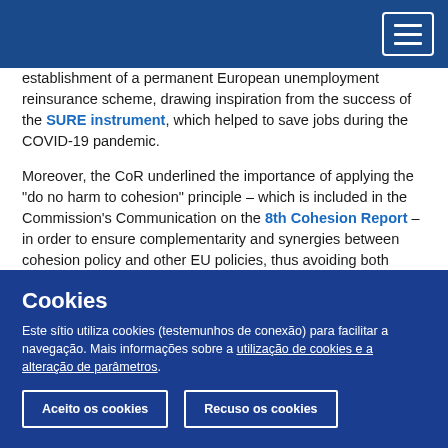establishment of a permanent European unemployment reinsurance scheme, drawing inspiration from the success of the SURE instrument, which helped to save jobs during the COVID-19 pandemic.
Moreover, the CoR underlined the importance of applying the "do no harm to cohesion" principle – which is included in the Commission's Communication on the 8th Cohesion Report – in order to ensure complementarity and synergies between cohesion policy and other EU policies, thus avoiding both hampering the process of convergence and an increase in regional disparities.
Cookies
Este sítio utiliza cookies (testemunhos de conexão) para facilitar a navegação. Mais informações sobre a utilização de cookies e a alteração de parâmetros.